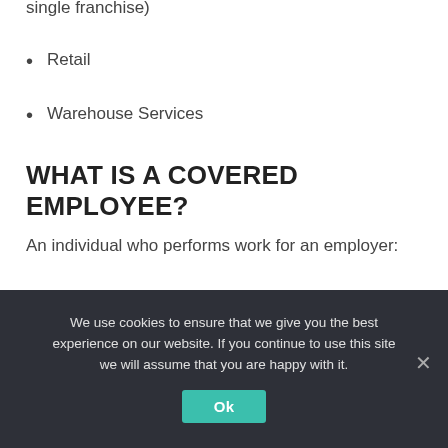single franchise)
Retail
Warehouse Services
WHAT IS A COVERED EMPLOYEE?
An individual who performs work for an employer:
We use cookies to ensure that we give you the best experience on our website. If you continue to use this site we will assume that you are happy with it.